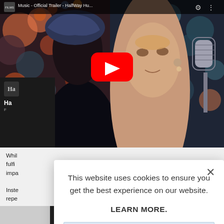[Figure (screenshot): Screenshot of a webpage showing a YouTube video thumbnail for 'Music - Official Trailer - Halfway Hu...' with a play button overlay, showing two women with colorful clothing and a vintage microphone in the background.]
Whil fulfi impa
Inste repe
"Mu
[Figure (screenshot): Cookie consent modal dialog overlaying the webpage. Contains text: 'This website uses cookies to ensure you get the best experience on our website.' with a 'LEARN MORE.' link and an 'ACCEPT COOKIES' button. Has an X close button in the top right.]